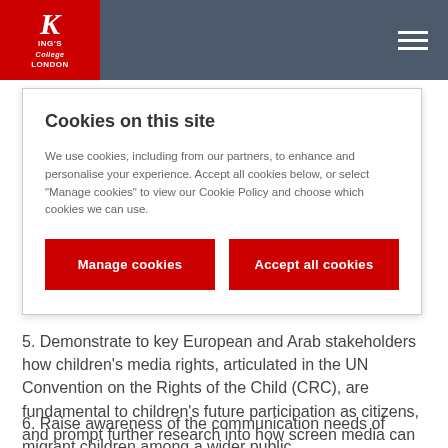King's College London
Cookies on this site
We use cookies, including from our partners, to enhance and personalise your experience. Accept all cookies below, or select "Manage cookies" to view our Cookie Policy and choose which cookies we can use.
Manage cookies
Accept all cookies
5. Demonstrate to key European and Arab stakeholders how children's media rights, articulated in the UN Convention on the Rights of the Child (CRC), are fundamental to children's future participation as citizens, and prompt further research into how screen media can help migrant children develop their identities in new environments.
6. Raise awareness of the communication needs of migrant children among a wider public.